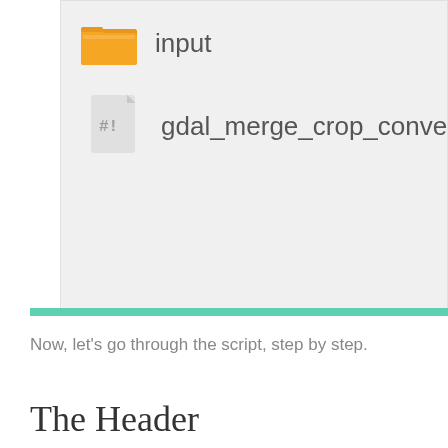[Figure (screenshot): File browser screenshot showing a folder named 'input' and a shell script file named 'gdal_merge_crop_convert.sh' with a #! script icon, displayed on a light gray background with a teal bottom border bar.]
Now, let's go through the script, step by step.
The Header